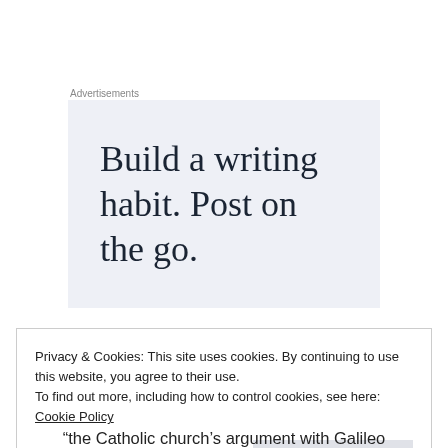Advertisements
[Figure (other): Advertisement block with light blue-gray background displaying the text 'Build a writing habit. Post on the go.' in large serif font]
Privacy & Cookies: This site uses cookies. By continuing to use this website, you agree to their use.
To find out more, including how to control cookies, see here: Cookie Policy
Close and accept
“the Catholic church’s argument with Galileo